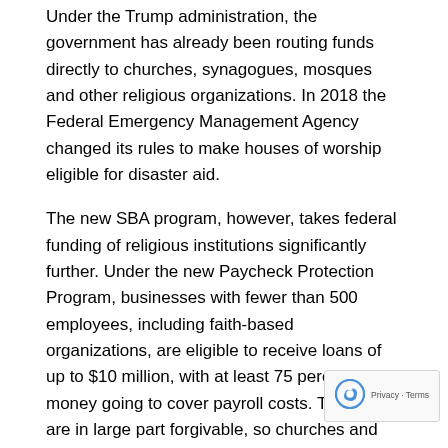Under the Trump administration, the government has already been routing funds directly to churches, synagogues, mosques and other religious organizations. In 2018 the Federal Emergency Management Agency changed its rules to make houses of worship eligible for disaster aid.
The new SBA program, however, takes federal funding of religious institutions significantly further. Under the new Paycheck Protection Program, businesses with fewer than 500 employees, including faith-based organizations, are eligible to receive loans of up to $10 million, with at least 75 percent of the money going to cover payroll costs. The loans are in large part forgivable, so churches and other houses of worship won't have to worry about paying all the money back.
Organizations that advocate for strict church-state separation are criticizing the program.